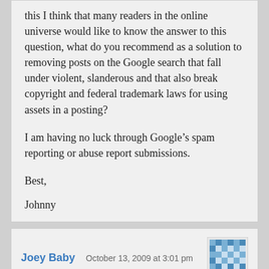this I think that many readers in the online universe would like to know the answer to this question, what do you recommend as a solution to removing posts on the Google search that fall under violent, slanderous and that also break copyright and federal trademark laws for using assets in a posting?
I am having no luck through Google's spam reporting or abuse report submissions.
Best,
Johnny
Joey Baby  October 13, 2009 at 3:01 pm
We just wish there was a faster way to remove URLs from the serps on a low PR site.. You'd think by now it could almost be instant